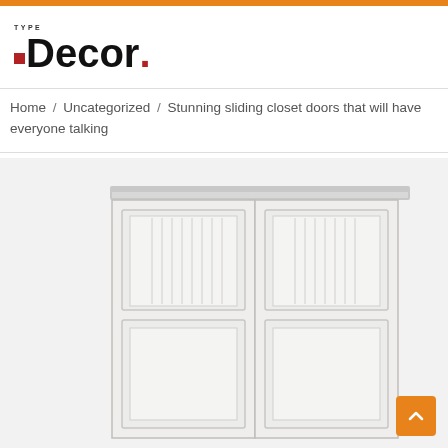TYPE Decor.
Home / Uncategorized / Stunning sliding closet doors that will have everyone talking
[Figure (photo): White sliding closet doors with raised panel design, two-panel configuration showing arched top panels and lower rectangular panels, mounted on a track system.]